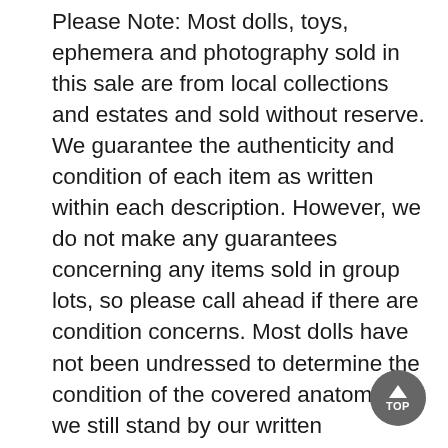Please Note: Most dolls, toys, ephemera and photography sold in this sale are from local collections and estates and sold without reserve. We guarantee the authenticity and condition of each item as written within each description. However, we do not make any guarantees concerning any items sold in group lots, so please call ahead if there are condition concerns. Most dolls have not been undressed to determine the condition of the covered anatomy, but we still stand by our written descriptions, so when we say an item is in good condition it will also pertain to the bodies. In the event of conflict with the written condition report and the corresponding photography, any damage as shown by the photography will take precedence. This guarantee only applies to items in this sale that are paid for within 2 weeks of start date. After this time, all warrantees are voided and everything is considered sold in as-is condition and no refunds be granted for any reason. By bidding at this sale, you agree to these terms.